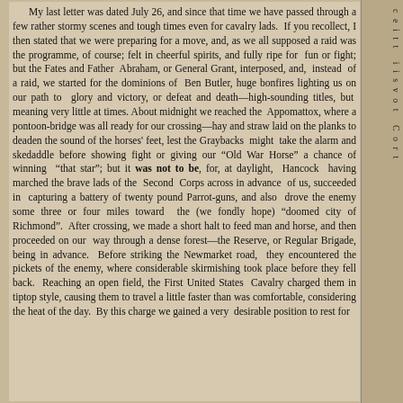My last letter was dated July 26, and since that time we have passed through a few rather stormy scenes and tough times even for cavalry lads. If you recollect, I then stated that we were preparing for a move, and, as we all supposed a raid was the programme, of course; felt in cheerful spirits, and fully ripe for fun or fight; but the Fates and Father Abraham, or General Grant, interposed, and, instead of a raid, we started for the dominions of Ben Butler, huge bonfires lighting us on our path to glory and victory, or defeat and death—high-sounding titles, but meaning very little at times. About midnight we reached the Appomattox, where a pontoon-bridge was all ready for our crossing—hay and straw laid on the planks to deaden the sound of the horses' feet, lest the Graybacks might take the alarm and skedaddle before showing fight or giving our "Old War Horse" a chance of winning "that star"; but it was not to be, for, at daylight, Hancock having marched the brave lads of the Second Corps across in advance of us, succeeded in capturing a battery of twenty pound Parrot-guns, and also drove the enemy some three or four miles toward the (we fondly hope) "doomed city of Richmond". After crossing, we made a short halt to feed man and horse, and then proceeded on our way through a dense forest—the Reserve, or Regular Brigade, being in advance. Before striking the Newmarket road, they encountered the pickets of the enemy, where considerable skirmishing took place before they fell back. Reaching an open field, the First United States Cavalry charged them in tiptop style, causing them to travel a little faster than was comfortable, considering the heat of the day. By this charge we gained a very desirable position to rest for